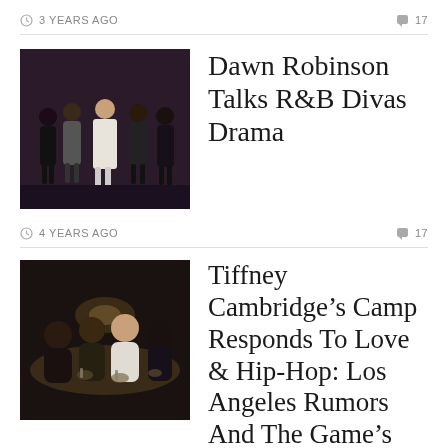3 YEARS AGO   17
[Figure (photo): Group of women posing together in formal/party attire]
Dawn Robinson Talks R&B Divas Drama
4 YEARS AGO   17
[Figure (photo): People seated around a table at a restaurant/dinner event, dimly lit]
Tiffney Cambridge’s Camp Responds To Love & Hip-Hop: Los Angeles Rumors And The Game’s Tami